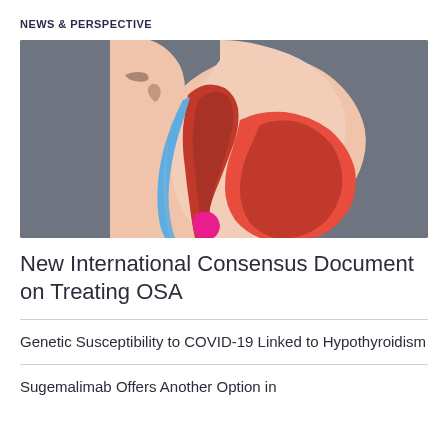NEWS & PERSPECTIVE
[Figure (illustration): Medical illustration showing a cross-sectional anatomical diagram of the human head and throat, depicting obstructive sleep apnea (OSA) with airway passages shown in red and blue on a gray background.]
New International Consensus Document on Treating OSA
Genetic Susceptibility to COVID-19 Linked to Hypothyroidism
Sugemalimab Offers Another Option in